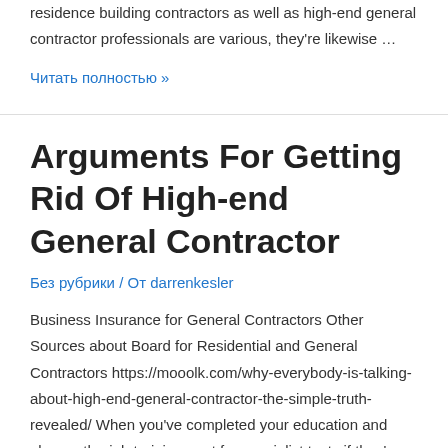residence building contractors as well as high-end general contractor professionals are various, they're likewise …
Читать полностью »
Arguments For Getting Rid Of High-end General Contractor
Без рубрики / От darrenkesler
Business Insurance for General Contractors Other Sources about Board for Residential and General Contractors https://mooolk.com/why-everybody-is-talking-about-high-end-general-contractor-the-simple-truth-revealed/ When you've completed your education and also on-the-job training, rest for specialist tests if they're called for in your state. If they aren't, take them anyway if you can. The exams are provided at the city or